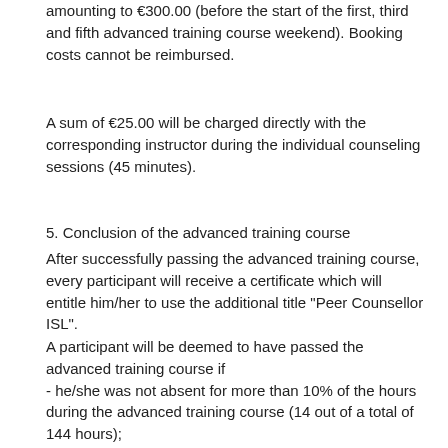amounting to €300.00 (before the start of the first, third and fifth advanced training course weekend). Booking costs cannot be reimbursed.
A sum of €25.00 will be charged directly with the corresponding instructor during the individual counseling sessions (45 minutes).
5. Conclusion of the advanced training course
After successfully passing the advanced training course, every participant will receive a certificate which will entitle him/her to use the additional title "Peer Counsellor ISL".
A participant will be deemed to have passed the advanced training course if
- he/she was not absent for more than 10% of the hours during the advanced training course (14 out of a total of 144 hours);
- he/he attended 10 individual counseling sessions during the advanced training course;
- he/she submitted his/her assignment and took part in the role playing session.
The instructors conference will take a decision regarding the award of the certificate. Participants not entitled to a certificate will receive